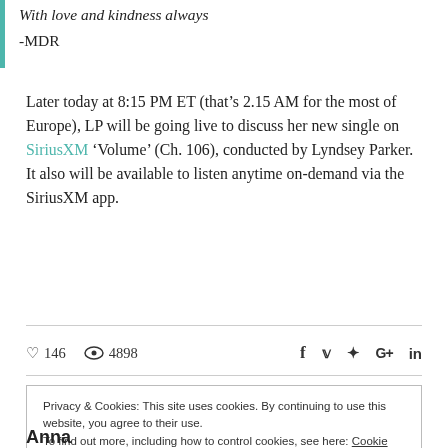With love and kindness always
-MDR
Later today at 8:15 PM ET (that’s 2.15 AM for the most of Europe), LP will be going live to discuss her new single on SiriusXM ‘Volume’ (Ch. 106), conducted by Lyndsey Parker. It also will be available to listen anytime on-demand via the SiriusXM app.
146 views 4898 • social icons: f, Twitter, Pinterest, G+, in
Privacy & Cookies: This site uses cookies. By continuing to use this website, you agree to their use.
To find out more, including how to control cookies, see here: Cookie Policy
Close and accept
Anna